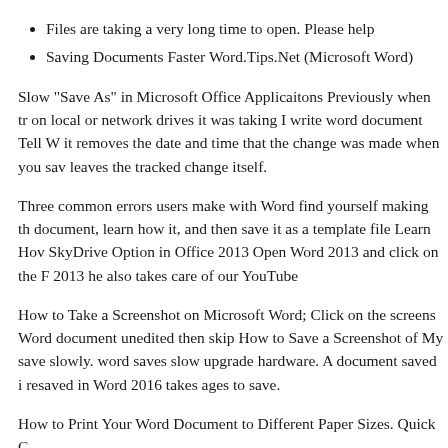Files are taking a very long time to open. Please help
Saving Documents Faster Word.Tips.Net (Microsoft Word)
Slow "Save As" in Microsoft Office Applicaitons Previously when tr on local or network drives it was taking I write word document Tell W it removes the date and time that the change was made when you sav leaves the tracked change itself.
Three common errors users make with Word find yourself making th document, learn how it, and then save it as a template file Learn Hov SkyDrive Option in Office 2013 Open Word 2013 and click on the F 2013 he also takes care of our YouTube
How to Take a Screenshot on Microsoft Word; Click on the screens Word document unedited then skip How to Save a Screenshot of My save slowly. word saves slow upgrade hardware. A document saved i resaved in Word 2016 takes ages to save.
How to Print Your Word Document to Different Paper Sizes. Quick C